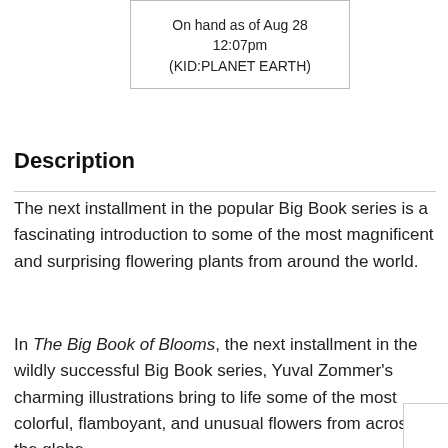On hand as of Aug 28 12:07pm (KID:PLANET EARTH)
Description
The next installment in the popular Big Book series is a fascinating introduction to some of the most magnificent and surprising flowering plants from around the world.
In The Big Book of Blooms, the next installment in the wildly successful Big Book series, Yuval Zommer's charming illustrations bring to life some of the most colorful, flamboyant, and unusual flowers from across the globe.